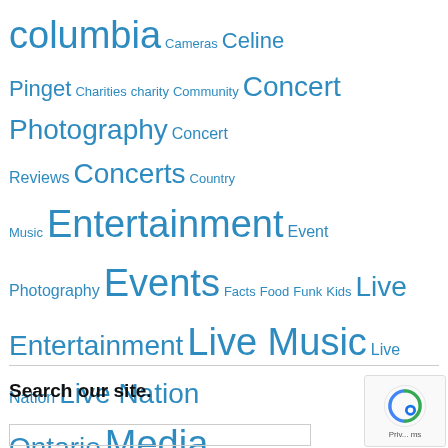columbia Cameras Celine Pinget Charities charity Community Concert Photography Concert Reviews Concerts Country Music Entertainment Event Photography Events Facts Food Funk Kids Live Entertainment Live Music Live Nation Live Nation Ontario Media Monster Jam MonsterTrucks Music News New Westminister Outdoors Photography Reviews Rogers Arena Ryan Smith Sarah Diamond Sports The Commodore Ballroom The Vogue Theatre Vancouver Vancouver BC Vancouver British Columbia volunteer volunteering YVR
Search our site.